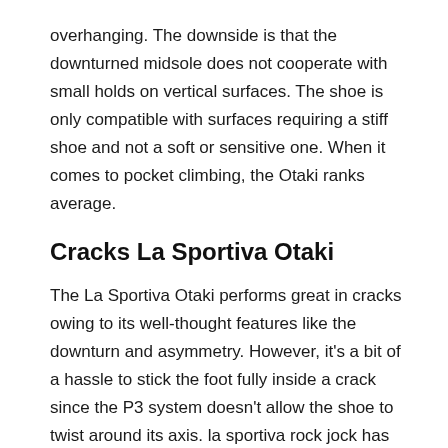overhanging. The downside is that the downturned midsole does not cooperate with small holds on vertical surfaces. The shoe is only compatible with surfaces requiring a stiff shoe and not a soft or sensitive one. When it comes to pocket climbing, the Otaki ranks average.
Cracks La Sportiva Otaki
The La Sportiva Otaki performs great in cracks owing to its well-thought features like the downturn and asymmetry. However, it's a bit of a hassle to stick the foot fully inside a crack since the P3 system doesn't allow the shoe to twist around its axis. la sportiva rock jock has the perfect features and design that is top-notch and no other can compare the design like La sportiva Otaki.